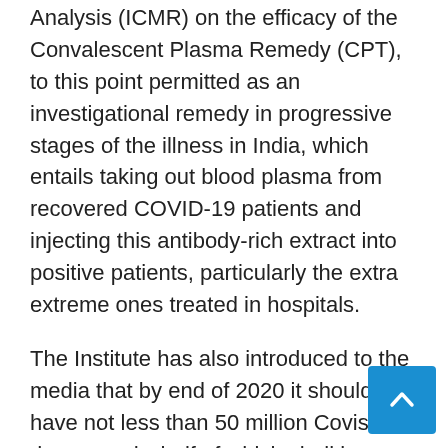Analysis (ICMR) on the efficacy of the Convalescent Plasma Remedy (CPT), to this point permitted as an investigational remedy in progressive stages of the illness in India, which entails taking out blood plasma from recovered COVID-19 patients and injecting this antibody-rich extract into positive patients, particularly the extra extreme ones treated in hospitals.
The Institute has also introduced to the media that by end of 2020 it should have not less than 50 million Covishield doses ready, half of which shall be provided to the government of India while the remainder is to be given to different international locations, largely much less developed nations. 2020 is a really challenging yr to all of us, Filipino. With the security guidelines already in place like social distancing, hand washing, face masks are security measures to avoid infection but the principle